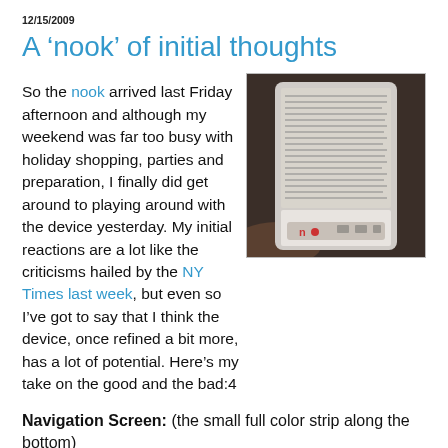12/15/2009
A ‘nook’ of initial thoughts
So the nook arrived last Friday afternoon and although my weekend was far too busy with holiday shopping, parties and preparation, I finally did get around to playing around with the device yesterday. My initial reactions are a lot like the criticisms hailed by the NY Times last week, but even so I’ve got to say that I think the device, once refined a bit more, has a lot of potential. Here’s my take on the good and the bad:4
[Figure (photo): Photo of a nook e-reader device being held, showing its e-ink display with text and the small color navigation strip at the bottom.]
Navigation Screen: (the small full color strip along the bottom)
The Good – I really like the layout, navigation